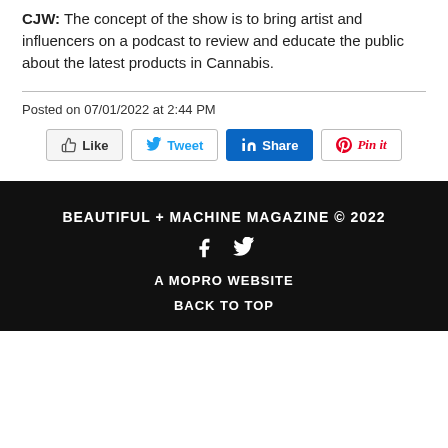CJW: The concept of the show is to bring artist and influencers on a podcast to review and educate the public about the latest products in Cannabis.
Posted on 07/01/2022 at 2:44 PM
[Figure (other): Social share buttons: Like, Tweet, Share (LinkedIn), Pin it (Pinterest)]
BEAUTIFUL + MACHINE MAGAZINE © 2022
A MOPRO WEBSITE
BACK TO TOP